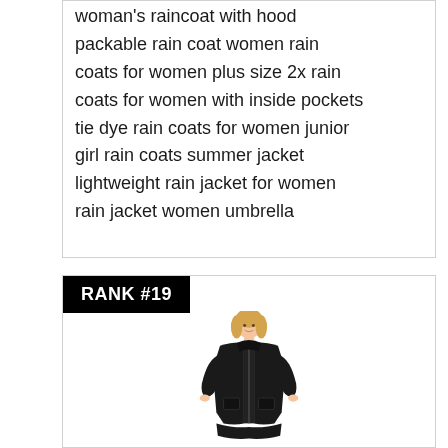woman's raincoat with hood packable rain coat women rain coats for women plus size 2x rain coats for women with inside pockets tie dye rain coats for women junior girl rain coats summer jacket lightweight rain jacket for women rain jacket women umbrella
RANK #19
[Figure (photo): A woman wearing a black long zip-up raincoat with hood, smiling, shown from head to mid-thigh]